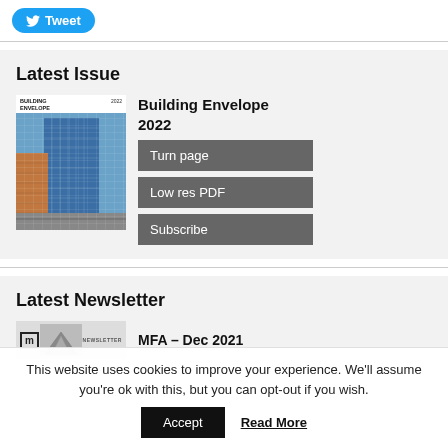[Figure (other): Twitter Tweet button with bird logo]
Latest Issue
[Figure (photo): Cover of Building Envelope 2022 magazine showing a modern building facade with geometric blue cladding]
Building Envelope 2022
Turn page
Low res PDF
Subscribe
Latest Newsletter
[Figure (photo): Newsletter thumbnail showing MFA logo and architectural image]
MFA – Dec 2021
This website uses cookies to improve your experience. We'll assume you're ok with this, but you can opt-out if you wish.
Accept
Read More